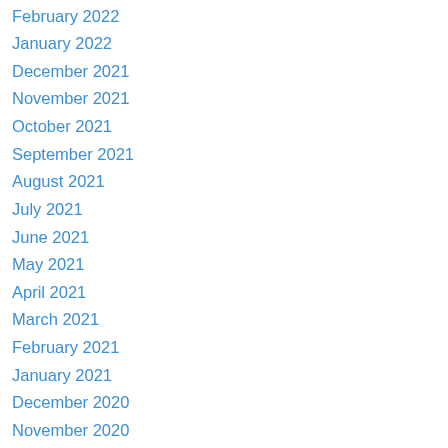February 2022
January 2022
December 2021
November 2021
October 2021
September 2021
August 2021
July 2021
June 2021
May 2021
April 2021
March 2021
February 2021
January 2021
December 2020
November 2020
October 2020
September 2020
August 2020
July 2020
June 2020